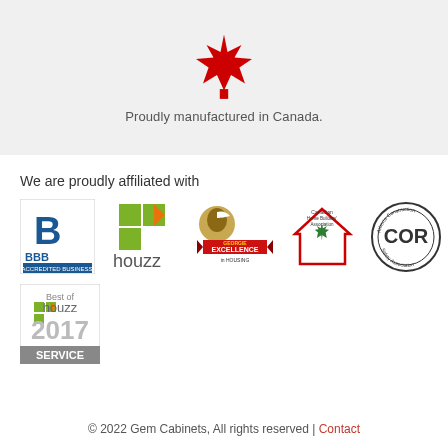[Figure (illustration): Canadian maple leaf icon in red, centered in gray header band]
Proudly manufactured in Canada.
We are proudly affiliated with
[Figure (logo): BBB Accredited Business logo in blue]
[Figure (logo): Houzz logo with green diamond shapes and text 'houzz']
[Figure (logo): Georgie Award Excellence in Housing logo with eagle and ribbon]
[Figure (logo): Canadian Home Builders' Association logo with maple leaf house icon]
[Figure (logo): COR Alberta Construction Safety Association circular badge]
[Figure (logo): Best of Houzz 2017 Service badge]
© 2022 Gem Cabinets, All rights reserved | Contact